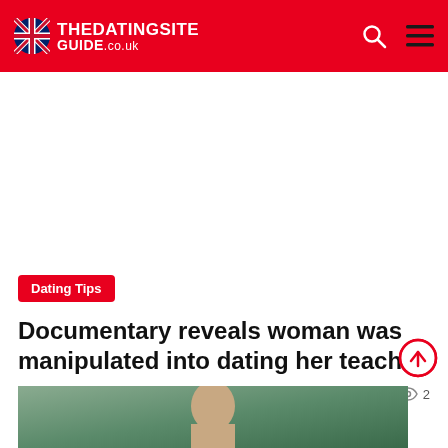THEDATINGSITE GUIDE.co.uk
Documentary reveals woman was manipulated into dating her teacher
Dating Tips
15 hours ago   0   2